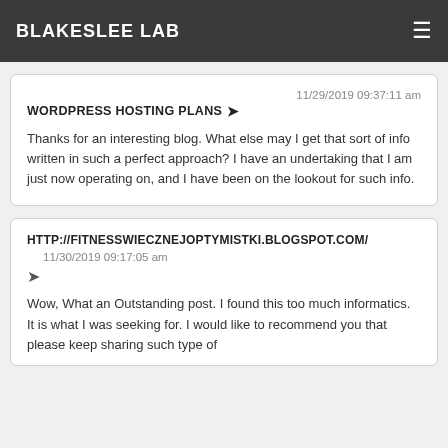BLAKESLEE LAB
convenientlc as the substance material
WORDPRESS HOSTING PLANS →
11/29/2019 09:37:11 am
Thanks for an interesting blog. What else may I get that sort of info written in such a perfect approach? I have an undertaking that I am just now operating on, and I have been on the lookout for such info.
HTTP://FITNESSWIECZNEJOPTYMISTKI.BLOGSPOT.COM/
11/30/2019 09:17:05 am
Wow, What an Outstanding post. I found this too much informatics. It is what I was seeking for. I would like to recommend you that please keep sharing such type of